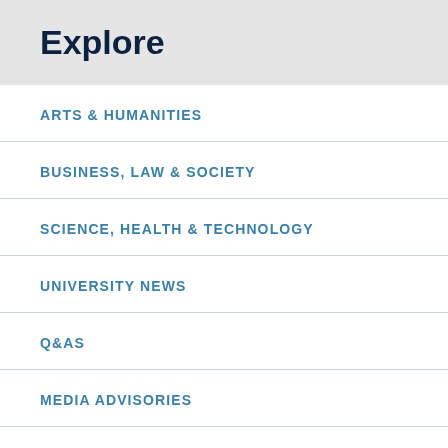Explore
ARTS & HUMANITIES
BUSINESS, LAW & SOCIETY
SCIENCE, HEALTH & TECHNOLOGY
UNIVERSITY NEWS
Q&AS
MEDIA ADVISORIES
LATEST NEWS